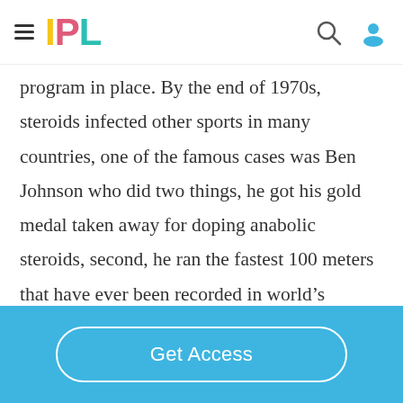IPL
program in place. By the end of 1970s, steroids infected other sports in many countries, one of the famous cases was Ben Johnson who did two things, he got his gold medal taken away for doping anabolic steroids, second, he ran the fastest 100 meters that have ever been recorded in world's history (during that time). Thus, he showed
Get Access